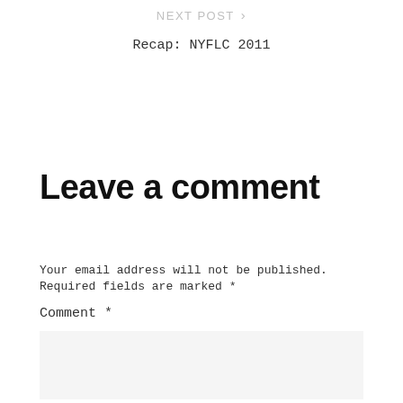NEXT POST >
Recap: NYFLC 2011
Leave a comment
Your email address will not be published. Required fields are marked *
Comment *